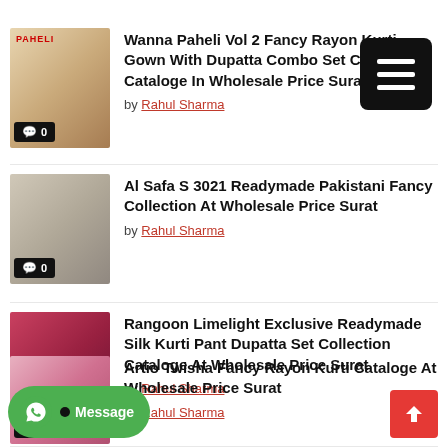Wanna Paheli Vol 2 Fancy Rayon Kurti Gown With Dupatta Combo Set Collection Cataloge In Wholesale Price Surat by Rahul Sharma
Al Safa S 3021 Readymade Pakistani Fancy Collection At Wholesale Price Surat by Rahul Sharma
Rangoon Limelight Exclusive Readymade Silk Kurti Pant Dupatta Set Collection Cataloge At Wholesale Price Surat by Rahul Sharma
Artio Twisha Fancy Rayon Kurti Cataloge At Wholesale Price Surat by Rahul Sharma